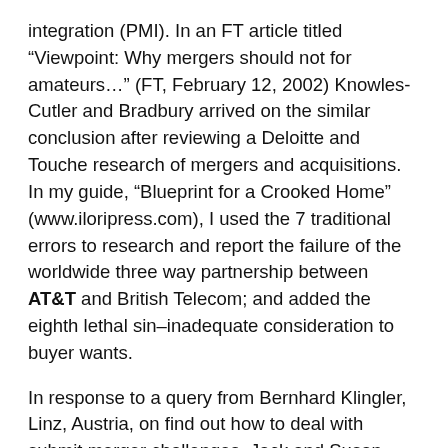integration (PMI). In an FT article titled “Viewpoint: Why mergers should not for amateurs…” (FT, February 12, 2002) Knowles-Cutler and Bradbury arrived on the similar conclusion after reviewing a Deloitte and Touche research of mergers and acquisitions. In my guide, “Blueprint for a Crooked Home” (www.iloripress.com), I used the 7 traditional errors to research and report the failure of the worldwide three way partnership between AT&T and British Telecom; and added the eighth lethal sin–inadequate consideration to buyer wants.
In response to a query from Bernhard Klingler, Linz, Austria, on find out how to deal with submit merger challenges, Jack and Susan Welch lately reported on the Six Sins of M&A (BusinessWeek On-line, October 23, 2006). The Welch’s six sins represent a subset of the eight traditional errors. You will need to remind company executives of those traditional errors… that they’ll keep away from them and scale…